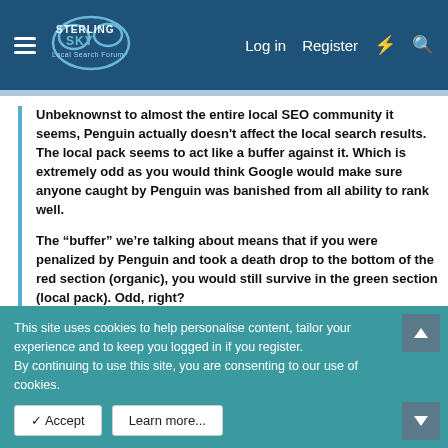Sterling Sky Local Search Forum — Log in | Register
Unbeknownst to almost the entire local SEO community it seems, Penguin actually doesn't affect the local search results. The local pack seems to act like a buffer against it. Which is extremely odd as you would think Google would make sure anyone caught by Penguin was banished from all ability to rank well.
The “buffer” we’re talking about means that if you were penalized by Penguin and took a death drop to the bottom of the red section (organic), you would still survive in the green section (local pack). Odd, right?
If you were to go back and type in “roofing dallas tx” into Google and you knew what to look for, you would see that a whopping 5 out of the 7 businesses in the local pack don’t rank well organically (4th
This site uses cookies to help personalise content, tailor your experience and to keep you logged in if you register.
By continuing to use this site, you are consenting to our use of cookies.